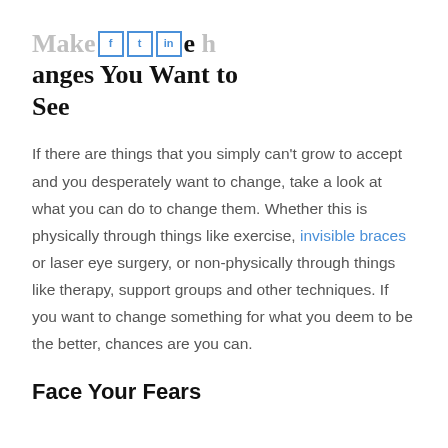Make the Changes You Want to See
If there are things that you simply can't grow to accept and you desperately want to change, take a look at what you can do to change them. Whether this is physically through things like exercise, invisible braces or laser eye surgery, or non-physically through things like therapy, support groups and other techniques. If you want to change something for what you deem to be the better, chances are you can.
Face Your Fears